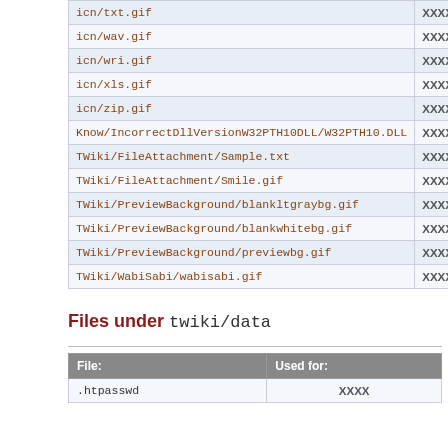| File | Used for: |
| --- | --- |
| icn/txt.gif | XXXX |
| icn/wav.gif | XXXX |
| icn/wri.gif | XXXX |
| icn/xls.gif | XXXX |
| icn/zip.gif | XXXX |
| Know/IncorrectDllVersionW32PTH10DLL/W32PTH10.DLL | XXXX |
| TWiki/FileAttachment/Sample.txt | XXXX |
| TWiki/FileAttachment/Smile.gif | XXXX |
| TWiki/PreviewBackground/blankltgraybg.gif | XXXX |
| TWiki/PreviewBackground/blankwhitebg.gif | XXXX |
| TWiki/PreviewBackground/previewbg.gif | XXXX |
| TWiki/WabiSabi/wabisabi.gif | XXXX |
Files under twiki/data
| File: | Used for: |
| --- | --- |
| .htpasswd | XXXX |